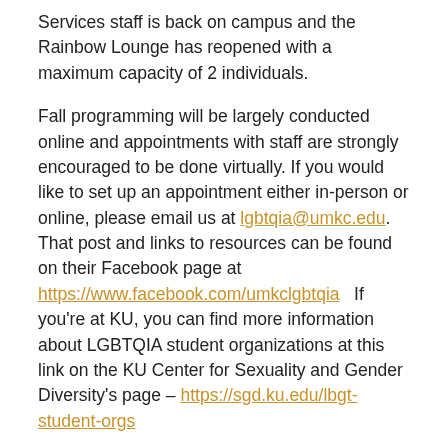Services staff is back on campus and the Rainbow Lounge has reopened with a maximum capacity of 2 individuals.
Fall programming will be largely conducted online and appointments with staff are strongly encouraged to be done virtually. If you would like to set up an appointment either in-person or online, please email us at lgbtqia@umkc.edu.  That post and links to resources can be found on their Facebook page at https://www.facebook.com/umkclgbtqia  If you're at KU, you can find more information about LGBTQIA student organizations at this link on the KU Center for Sexuality and Gender Diversity's page – https://sgd.ku.edu/lbgt-student-orgs
Every third Thursday, the Equal Trans Support Group meets at 5:00 PM.  They are having virtual meetings during the Coronavirus emergency, so please join their Facebook group to get more details if you are interested. https://www.facebook.com/groups/EQUALTransSupport/ There is also a second group for friends of EQUAL at